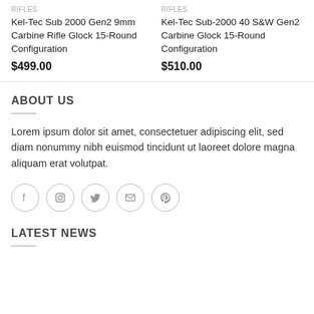RIFLES
Kel-Tec Sub 2000 Gen2 9mm Carbine Rifle Glock 15-Round Configuration
$499.00
RIFLES
Kel-Tec Sub-2000 40 S&W Gen2 Carbine Glock 15-Round Configuration
$510.00
ABOUT US
Lorem ipsum dolor sit amet, consectetuer adipiscing elit, sed diam nonummy nibh euismod tincidunt ut laoreet dolore magna aliquam erat volutpat.
[Figure (illustration): Row of 5 social media icon circles: Facebook, Instagram, Twitter, Email, Pinterest]
LATEST NEWS